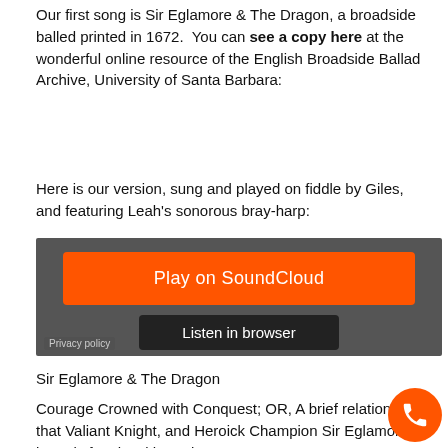Our first song is Sir Eglamore & The Dragon, a broadside balled printed in 1672.  You can see a copy here at the wonderful online resource of the English Broadside Ballad Archive, University of Santa Barbara:
Here is our version, sung and played on fiddle by Giles, and featuring Leah’s sonorous bray-harp:
[Figure (screenshot): SoundCloud embedded player widget with an orange 'Play on SoundCloud' button and a dark 'Listen in browser' button on a grey background, with a 'Privacy policy' label in the bottom left.]
Sir Eglamore & The Dragon
Courage Crowned with Conquest; OR, A brief relation, how that Valiant Knight, and Heroick Champion Sir Eglamore, bravely fought with, and